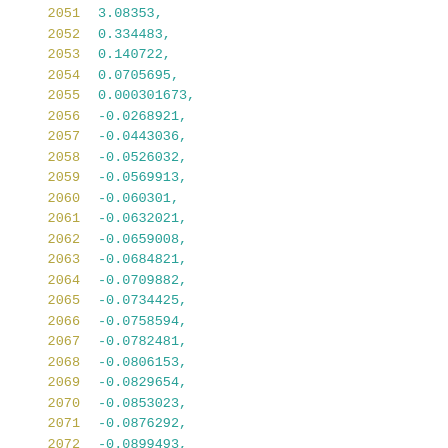2051    3.08353,
2052    0.334483,
2053    0.140722,
2054    0.0705695,
2055    0.000301673,
2056    -0.0268921,
2057    -0.0443036,
2058    -0.0526032,
2059    -0.0569913,
2060    -0.060301,
2061    -0.0632021,
2062    -0.0659008,
2063    -0.0684821,
2064    -0.0709882,
2065    -0.0734425,
2066    -0.0758594,
2067    -0.0782481,
2068    -0.0806153,
2069    -0.0829654,
2070    -0.0853023,
2071    -0.0876292,
2072    -0.0899493,